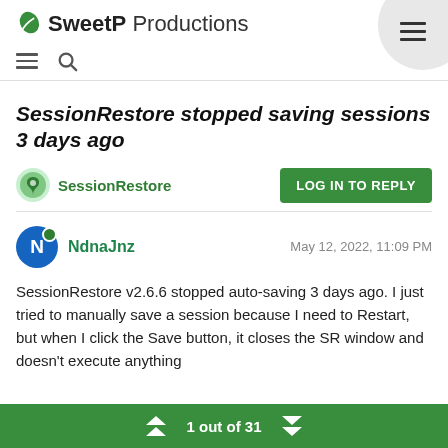SweetP Productions
SessionRestore stopped saving sessions 3 days ago
SessionRestore  LOG IN TO REPLY
NdnaJnz  May 12, 2022, 11:09 PM
SessionRestore v2.6.6 stopped auto-saving 3 days ago. I just tried to manually save a session because I need to Restart, but when I click the Save button, it closes the SR window and doesn't execute anything
1 out of 31